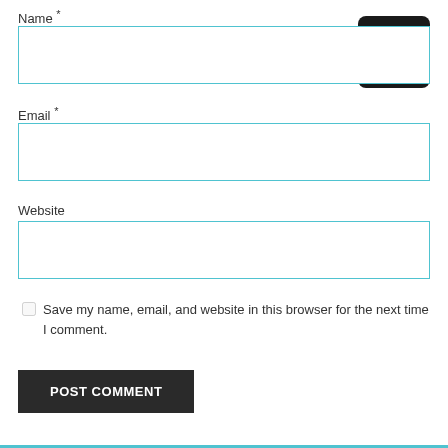Name *
[Figure (screenshot): Empty text input field for Name with cyan/teal border, with a dark hamburger menu button in top right corner]
Email *
[Figure (screenshot): Empty text input field for Email with cyan/teal border]
Website
[Figure (screenshot): Empty text input field for Website with cyan/teal border]
Save my name, email, and website in this browser for the next time I comment.
POST COMMENT